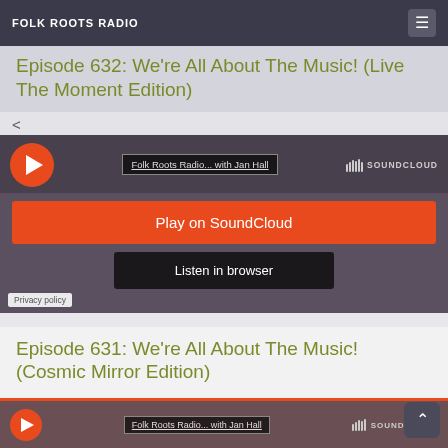FOLK ROOTS RADIO
Episode 632: We're All About The Music! (Live The Moment Edition)
[Figure (screenshot): SoundCloud embedded player with orange 'Play on SoundCloud' button, 'Listen in browser' button, track title 'Folk Roots Radio... with Jan Hall', SoundCloud logo, and Privacy policy link]
Episode 631: We're All About The Music! (Cosmic Mirror Edition)
[Figure (screenshot): Bottom of SoundCloud embedded player showing 'Folk Roots Radio... with Jan Hall' track title and SoundCloud logo]